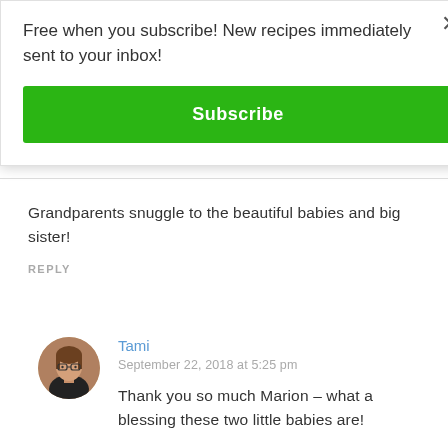Free when you subscribe! New recipes immediately sent to your inbox!
Subscribe
Grandparents snuggle to the beautiful babies and big sister!
REPLY
[Figure (photo): Circular avatar photo of Tami, a woman with glasses wearing a dark top]
Tami
September 22, 2018 at 5:25 pm
Thank you so much Marion – what a blessing these two little babies are!
REPLY